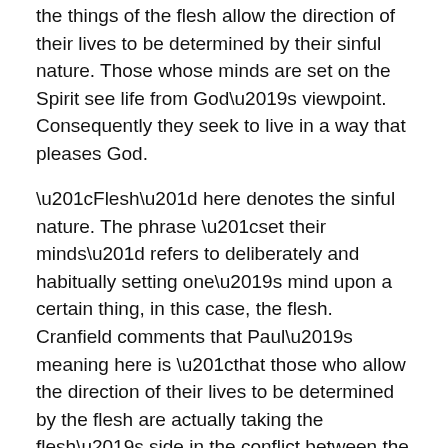the things of the flesh allow the direction of their lives to be determined by their sinful nature. Those whose minds are set on the Spirit see life from God’s viewpoint. Consequently they seek to live in a way that pleases God.
“Flesh” here denotes the sinful nature. The phrase “set their minds” refers to deliberately and habitually setting one’s mind upon a certain thing, in this case, the flesh. Cranfield comments that Paul’s meaning here is “that those who allow the direction of their lives to be determined by the flesh are actually taking the flesh’s side in the conflict between the Spirit of God and the flesh, while those who allow the Spirit to determine the direction of their lives are taking the Spirit’s side.”
8:6 For the mind set on the flesh is death, but the mind set on the Spirit is life and peace,